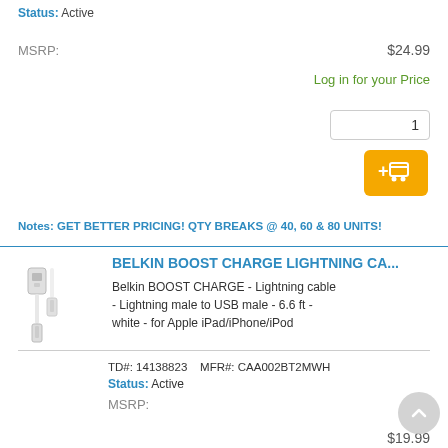Status: Active
MSRP: $24.99
Log in for your Price
Notes: GET BETTER PRICING! QTY BREAKS @ 40, 60 & 80 UNITS!
[Figure (photo): Belkin Lightning cable product image - white USB to Lightning cable on white background]
BELKIN BOOST CHARGE LIGHTNING CA...
Belkin BOOST CHARGE - Lightning cable - Lightning male to USB male - 6.6 ft - white - for Apple iPad/iPhone/iPod
TD#: 14138823   MFR#: CAA002BT2MWH
Status: Active
MSRP: $19.99